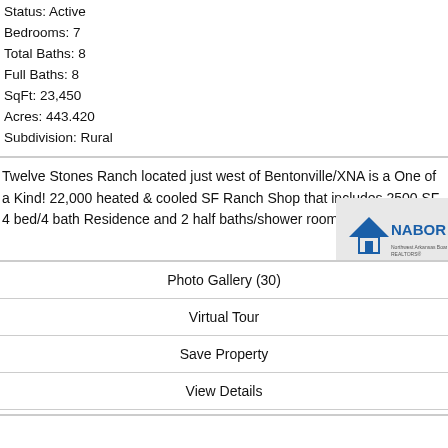Status: Active
Bedrooms: 7
Total Baths: 8
Full Baths: 8
SqFt: 23,450
Acres: 443.420
Subdivision: Rural
Twelve Stones Ranch located just west of Bentonville/XNA is a One of a Kind! 22,000 heated & cooled SF Ranch Shop that includes 2500 SF 4 bed/4 bath Residence and 2 half baths/shower rooms. Ranch...
[Figure (logo): NABOR logo - house icon with NABOR text]
Photo Gallery (30)
Virtual Tour
Save Property
View Details